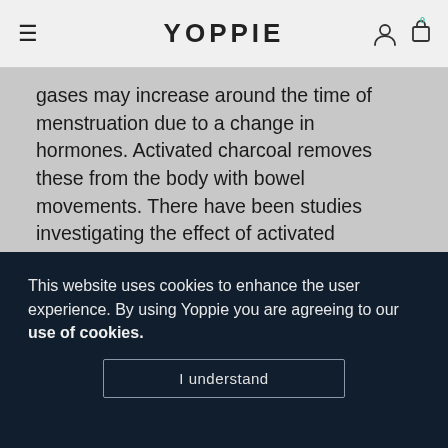YOPPIE
gases may increase around the time of menstruation due to a change in hormones. Activated charcoal removes these from the body with bowel movements. There have been studies investigating the effect of activated charcoal on intestinal gas. The research concludes that activated charcoal significantly lowered the level of gas in the intestines and significantly improved the symptoms of bloating and abdominal cramps.
This website uses cookies to enhance the user experience. By using Yoppie you are agreeing to our use of cookies. I understand